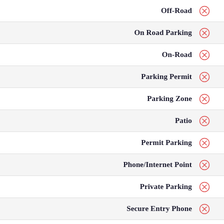Off-Road
On Road Parking
On-Road
Parking Permit
Parking Zone
Patio
Permit Parking
Phone/Internet Point
Private Parking
Secure Entry Phone
Secure entryphone